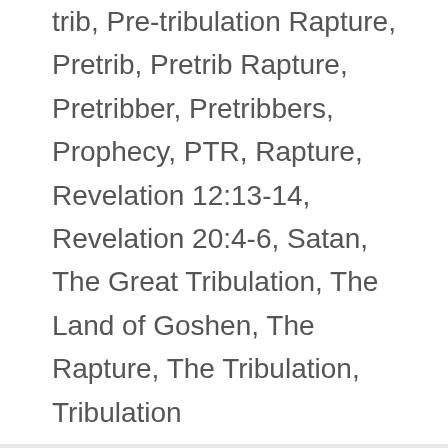trib, Pre-tribulation Rapture, Pretrib, Pretrib Rapture, Pretribber, Pretribbers, Prophecy, PTR, Rapture, Revelation 12:13-14, Revelation 20:4-6, Satan, The Great Tribulation, The Land of Goshen, The Rapture, The Tribulation, Tribulation
Keep Omega Shock Alive
[Figure (other): PayPal Donate button (yellow rounded rectangle) with payment icons below (Visa, Mastercard, Maestro, American Express, Discover, JCB)]
Search